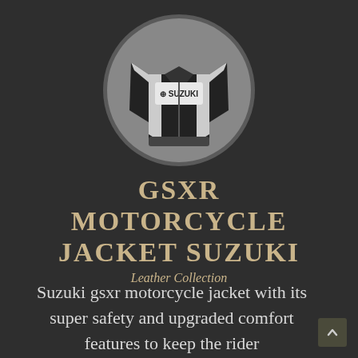[Figure (photo): Circular cropped grayscale photo of a Suzuki GSXR motorcycle leather jacket displayed on a mannequin, with SUZUKI branding on the chest, black and white colorway.]
GSXR MOTORCYCLE JACKET SUZUKI
Leather Collection
Suzuki gsxr motorcycle jacket with its super safety and upgraded comfort features to keep the rider